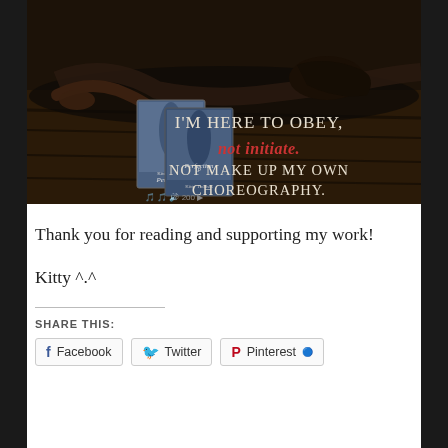[Figure (illustration): Book promotional image with dark background showing a woman lying on a wooden floor, with two book covers for 'Perfection' displayed and the text: I'M HERE TO OBEY, not initiate. NOT MAKE UP MY OWN CHOREOGRAPHY.]
Thank you for reading and supporting my work!
Kitty ^.^
SHARE THIS:
Facebook  Twitter  Pinterest